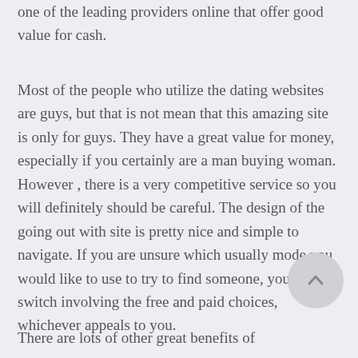one of the leading providers online that offer good value for cash.
Most of the people who utilize the dating websites are guys, but that is not mean that this amazing site is only for guys. They have a great value for money, especially if you certainly are a man buying woman. However , there is a very competitive service so you will definitely should be careful. The design of the going out with site is pretty nice and simple to navigate. If you are unsure which usually mode you would like to use to try to find someone, you can switch involving the free and paid choices, whichever appeals to you.
There are lots of other great benefits of